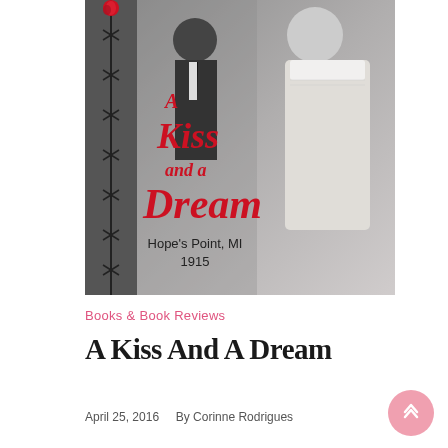[Figure (illustration): Book cover of 'A Kiss and a Dream' showing a man in a dark suit and a woman in a white lace dress, with barbed wire motif on the left side and a red rose at top. Title text in red script reads 'A Kiss and a Dream', subtitle 'Hope's Point, MI 1915'. Grayscale tones with red accents.]
Books & Book Reviews
A Kiss And A Dream
April 25, 2016    By Corinne Rodrigues